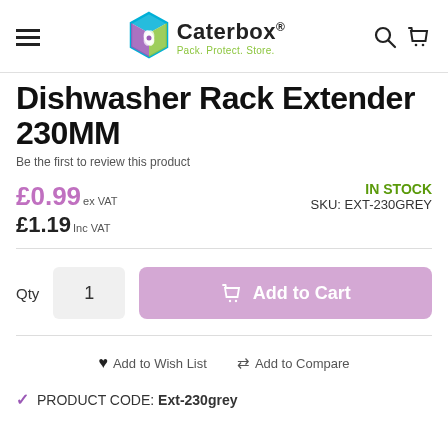Caterbox® Pack. Protect. Store.
Dishwasher Rack Extender 230MM
Be the first to review this product
£0.99 ex VAT  £1.19 Inc VAT  IN STOCK  SKU: EXT-230GREY
Qty 1  Add to Cart
Add to Wish List  Add to Compare
PRODUCT CODE: Ext-230grey